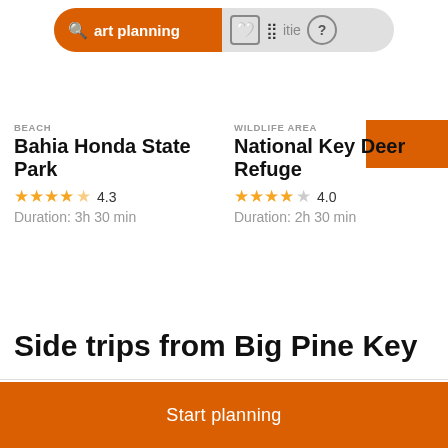[Figure (screenshot): Search bar with orange 'Start planning' button and icons for saved places, grid view, and help]
BEACH
Bahia Honda State Park
★★★★½ 4.3
Duration: 3h 30 min
WILDLIFE AREA
National Key Deer Refuge
★★★★☆ 4.0
Duration: 2h 30 min
Side trips from Big Pine Key
Everglades City Fishing Charters
SpaTerre at Little Palm Island Resort
Start planning